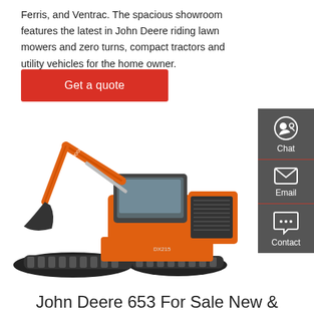Ferris, and Ventrac. The spacious showroom features the latest in John Deere riding lawn mowers and zero turns, compact tractors and utility vehicles for the home owner.
Get a quote
[Figure (photo): Orange Doosan DX215 crawler excavator on white background]
Chat
Email
Contact
John Deere 653 For Sale New &